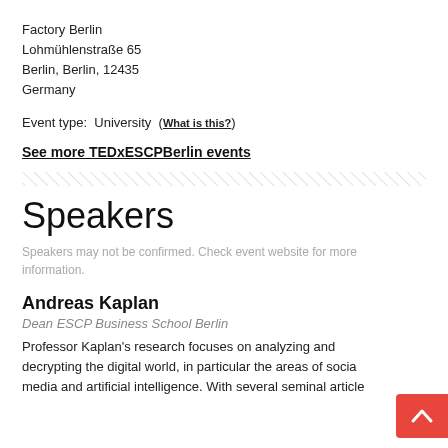Factory Berlin
Lohmühlenstraße 65
Berlin, Berlin, 12435
Germany
Event type: University (What is this?)
See more TEDxESCPBerlin events
Speakers
Speakers may not be confirmed. Check event website for more information.
Andreas Kaplan
Dean ESCP Business School Berlin
Professor Kaplan's research focuses on analyzing and decrypting the digital world, in particular the areas of social media and artificial intelligence. With several seminal article